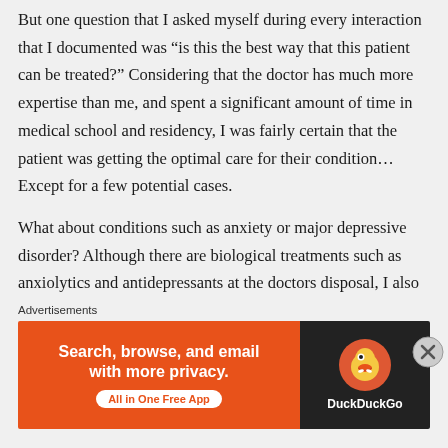But one question that I asked myself during every interaction that I documented was “is this the best way that this patient can be treated?” Considering that the doctor has much more expertise than me, and spent a significant amount of time in medical school and residency, I was fairly certain that the patient was getting the optimal care for their condition… Except for a few potential cases.
What about conditions such as anxiety or major depressive disorder? Although there are biological treatments such as anxiolytics and antidepressants at the doctors disposal, I also wondered about alternative
Advertisements
[Figure (infographic): DuckDuckGo advertisement banner. Left side is orange with text 'Search, browse, and email with more privacy. All in One Free App'. Right side is dark/black with DuckDuckGo duck logo and brand name.]